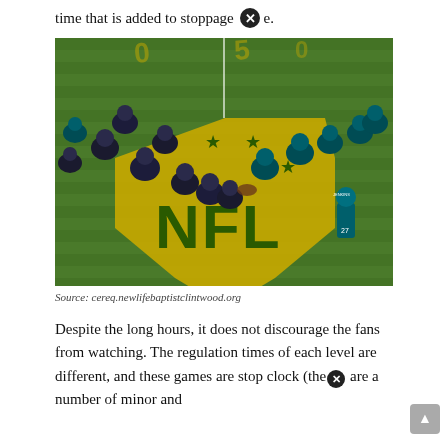time that is added to stoppage [X]e.
[Figure (photo): Aerial/overhead view of NFL football game on field with large NFL shield logo painted on the grass in gold/yellow. Players lined up at scrimmage, teams in dark and white uniforms.]
Source: cereq.newlifebaptistclintwood.org
Despite the long hours, it does not discourage the fans from watching. The regulation times of each level are different, and these games are stop clock (the[X] are a number of minor and